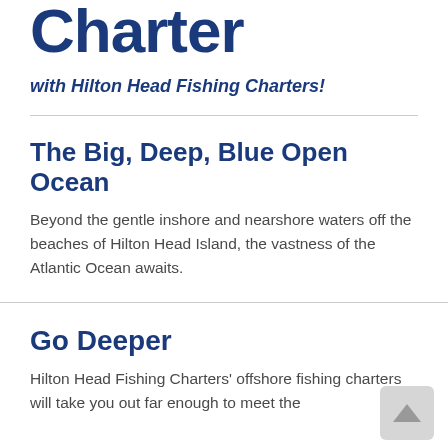Charter
with Hilton Head Fishing Charters!
The Big, Deep, Blue Open Ocean
Beyond the gentle inshore and nearshore waters off the beaches of Hilton Head Island, the vastness of the Atlantic Ocean awaits.
Go Deeper
Hilton Head Fishing Charters' offshore fishing charters will take you out far enough to meet the